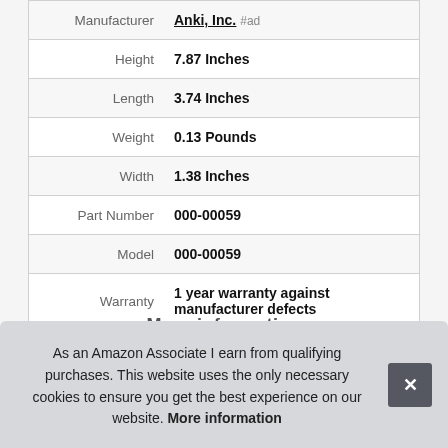| Attribute | Value |
| --- | --- |
| Manufacturer | Anki, Inc. #ad |
| Height | 7.87 Inches |
| Length | 3.74 Inches |
| Weight | 0.13 Pounds |
| Width | 1.38 Inches |
| Part Number | 000-00059 |
| Model | 000-00059 |
| Warranty | 1 year warranty against manufacturer defects |
As an Amazon Associate I earn from qualifying purchases. This website uses the only necessary cookies to ensure you get the best experience on our website. More information